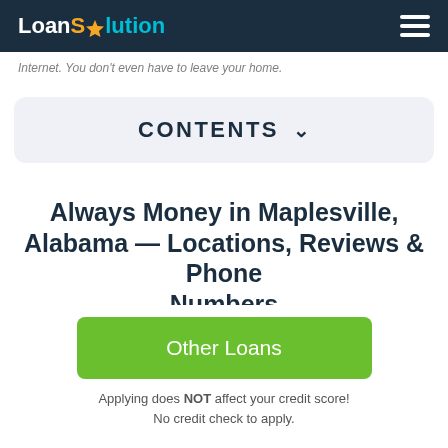LoanSolution
Internet. You don't even have to leave your home.
CONTENTS
Always Money in Maplesville, Alabama — Locations, Reviews & Phone Numbers
Other Loans
Applying does NOT affect your credit score! No credit check to apply.